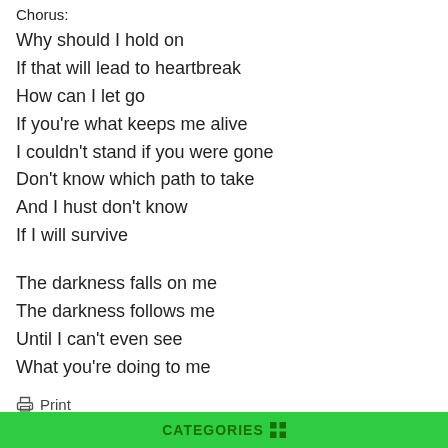Chorus:
Why should I hold on
If that will lead to heartbreak
How can I let go
If you're what keeps me alive
I couldn't stand if you were gone
Don't know which path to take
And I hust don't know
If I will survive
The darkness falls on me
The darkness follows me
Until I can't even see
What you're doing to me
Print
SHARE
Facebook share button, Twitter share button, Other share button
CATEGORIES